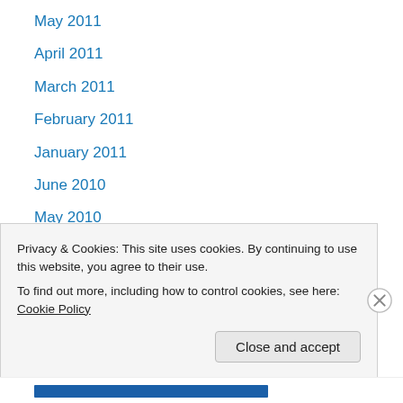May 2011
April 2011
March 2011
February 2011
January 2011
June 2010
May 2010
February 2010
January 2010
December 2009
November 2009
October 2009
September 2009
Privacy & Cookies: This site uses cookies. By continuing to use this website, you agree to their use. To find out more, including how to control cookies, see here: Cookie Policy